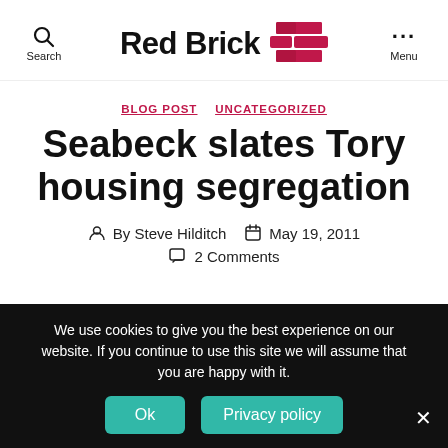Red Brick — Search / Menu
BLOG POST  UNCATEGORIZED
Seabeck slates Tory housing segregation
By Steve Hilditch   May 19, 2011   2 Comments
We use cookies to give you the best experience on our website. If you continue to use this site we will assume that you are happy with it.
Ok   Privacy policy